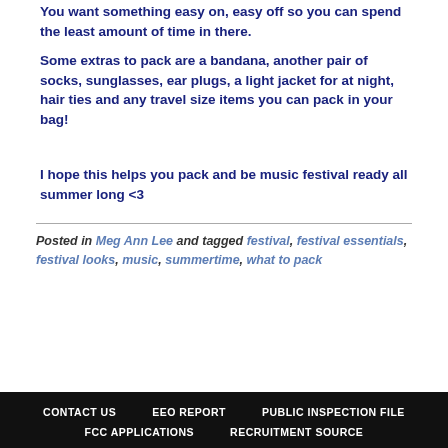You want something easy on, easy off so you can spend the least amount of time in there.
Some extras to pack are a bandana, another pair of socks, sunglasses, ear plugs, a light jacket for at night, hair ties and any travel size items you can pack in your bag!
I hope this helps you pack and be music festival ready all summer long <3
Posted in Meg Ann Lee and tagged festival, festival essentials, festival looks, music, summertime, what to pack
CONTACT US   EEO REPORT   PUBLIC INSPECTION FILE   FCC APPLICATIONS   RECRUITMENT SOURCE